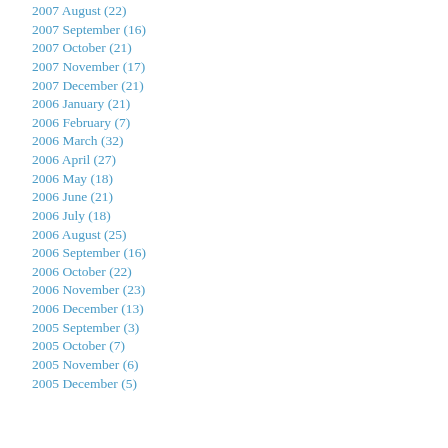2007 August (22)
2007 September (16)
2007 October (21)
2007 November (17)
2007 December (21)
2006 January (21)
2006 February (7)
2006 March (32)
2006 April (27)
2006 May (18)
2006 June (21)
2006 July (18)
2006 August (25)
2006 September (16)
2006 October (22)
2006 November (23)
2006 December (13)
2005 September (3)
2005 October (7)
2005 November (6)
2005 December (5)